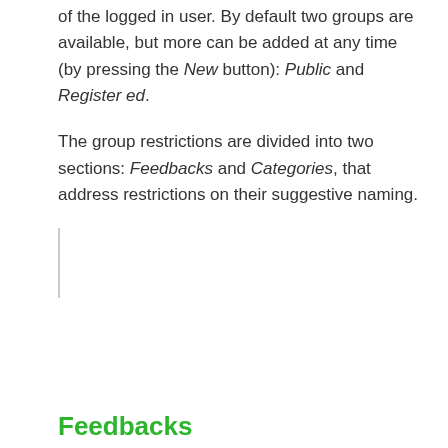of the logged in user. By default two groups are available, but more can be added at any time (by pressing the New button): Public and Registered.
The group restrictions are divided into two sections: Feedbacks and Categories, that address restrictions on their suggestive naming.
Feedbacks